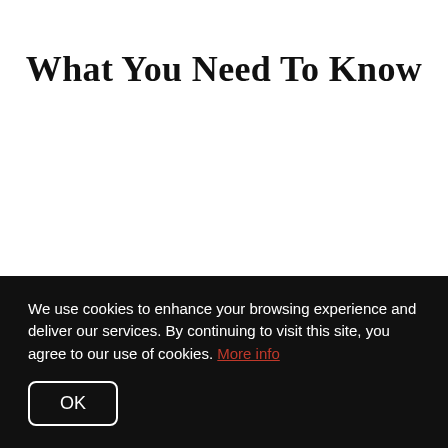What You Need To Know
This condo is located in The Sanctuary of Wesley Hills the northeast side of Lancaster.
You can't help but notice the pride in ownership the
We use cookies to enhance your browsing experience and deliver our services. By continuing to visit this site, you agree to our use of cookies. More info
OK